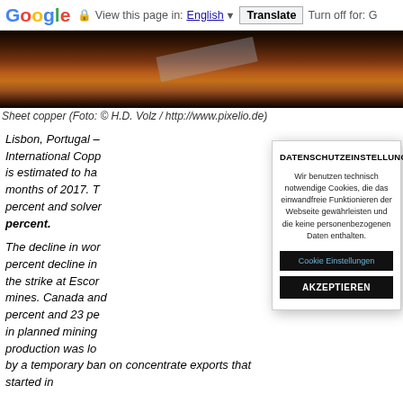Google  View this page in: English [▼]  Translate  Turn off for: G
[Figure (photo): Close-up photograph of sheet copper, dark brown/orange metallic surface with a reflective piece angled across.]
Sheet copper (Foto: © H.D. Volz / http://www.pixelio.de)
Lisbon, Portugal – International Copp is estimated to ha months of 2017. T percent and solver percent.
The decline in wor percent decline in the strike at Escor mines. Canada and percent and 23 pe in planned mining production was lo by a temporary ban on concentrate exports that started in
[Figure (other): Cookie consent modal overlay: DATENSCHUTZEINSTELLUNGEN - Wir benutzen technisch notwendige Cookies, die das einwandfreie Funktionieren der Webseite gewährleisten und die keine personenbezogenen Daten enthalten. [Cookie Einstellungen] [AKZEPTIEREN]]